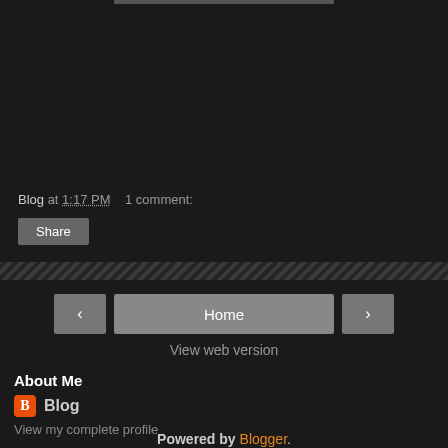Blog at 1:17 PM    1 comment:
Share
Home
View web version
About Me
Blog
View my complete profile
Powered by Blogger.